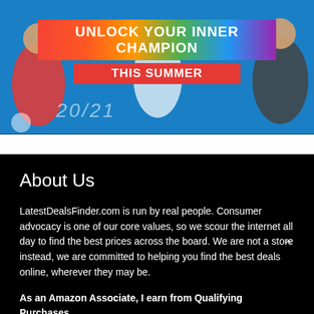[Figure (illustration): Sports promotional banner with athletes in background, colorful striped header reading 'UNLOCK YOUR INNER CHAMPION' and red banner reading 'THIS SUMMER', with '20/21' watermark text]
About Us
LatestDealsFinder.com is run by real people. Consumer advocacy is one of our core values, so we scour the internet all day to find the best prices across the board. We are not a store instead, we are committed to helping you find the best deals online, wherever they may be.
As an Amazon Associate, I earn from Qualifying Purchases.